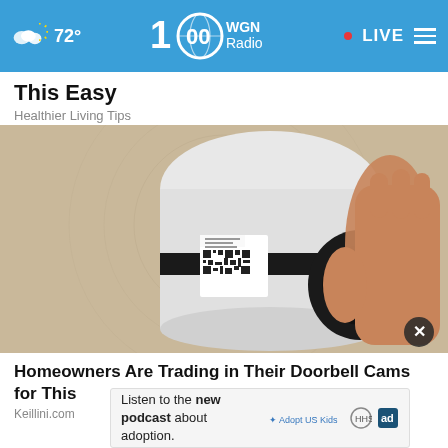72° WGN Radio LIVE
This Easy
Healthier Living Tips
[Figure (photo): A hand holding a small white security camera device with a QR code sticker on it, photographed against a light sandy/beige background]
Homeowners Are Trading in Their Doorbell Cams for This
Keillini.com
Listen to the new podcast about adoption. Adopt US Kids